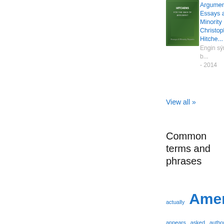[Figure (photo): Book cover of 'For the Sake of Argument: Essays and Minority Reports' by Christopher Hitchens, green cover]
Argument: Essays a...
Minority Reports
Christopher Hitche...
Engin sýnishorn í b...
- 2014
View all »
Common terms and phrases
actually  American
appears  asked  authority
become  believe  better
British  Bush  called
comes  common  course
critics  culture  death
democratic  described
effect  election  Europe  face
fact  feel  forces  foreign